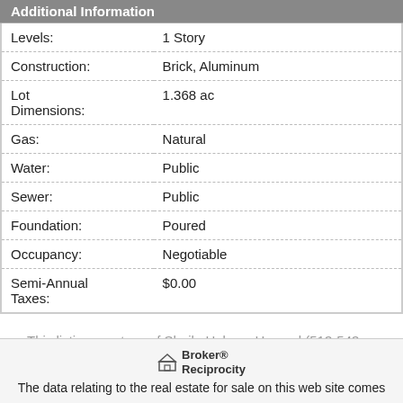Additional Information
| Field | Value |
| --- | --- |
| Levels: | 1 Story |
| Construction: | Brick, Aluminum |
| Lot Dimensions: | 1.368 ac |
| Gas: | Natural |
| Water: | Public |
| Sewer: | Public |
| Foundation: | Poured |
| Occupancy: | Negotiable |
| Semi-Annual Taxes: | $0.00 |
This listing courtesy of Sheila Holmes Howard (513-543-2333), OwnerLand Realty, Inc. (513-667-8991). All Information is believed accurate, but is NOT guaranteed.
Broker® Reciprocity
The data relating to the real estate for sale on this web site comes